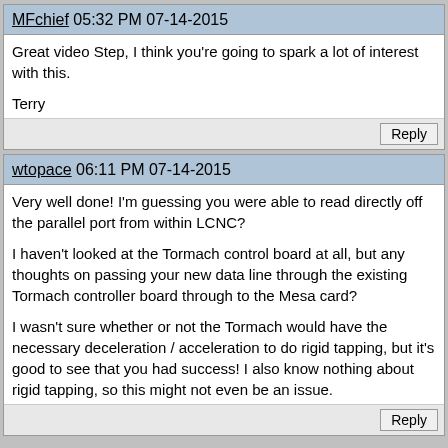MFchief 05:32 PM 07-14-2015
Great video Step, I think you're going to spark a lot of interest with this.

Terry
wtopace 06:11 PM 07-14-2015
Very well done! I'm guessing you were able to read directly off the parallel port from within LCNC?

I haven't looked at the Tormach control board at all, but any thoughts on passing your new data line through the existing Tormach controller board through to the Mesa card?

I wasn't sure whether or not the Tormach would have the necessary deceleration / acceleration to do rigid tapping, but it's good to see that you had success! I also know nothing about rigid tapping, so this might not even be an issue.